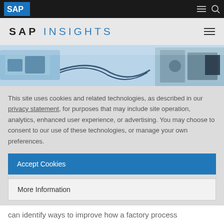SAP INSIGHTS
[Figure (photo): Industrial machinery/factory equipment in blue tones]
This site uses cookies and related technologies, as described in our privacy statement, for purposes that may include site operation, analytics, enhanced user experience, or advertising. You may choose to consent to our use of these technologies, or manage your own preferences.
Accept Cookies
More Information
Privacy Policy | Powered by: TrustArc
can identify ways to improve how a factory process